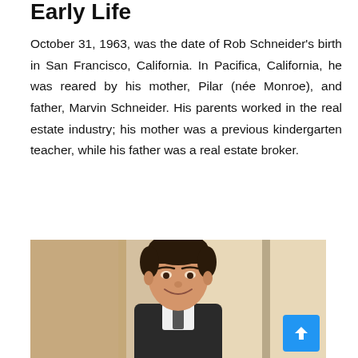Early Life
October 31, 1963, was the date of Rob Schneider's birth in San Francisco, California. In Pacifica, California, he was reared by his mother, Pilar (née Monroe), and father, Marvin Schneider. His parents worked in the real estate industry; his mother was a previous kindergarten teacher, while his father was a real estate broker.
[Figure (photo): A man (Rob Schneider) smiling, wearing a suit, photographed indoors near a door. The image is partially cropped at the bottom.]